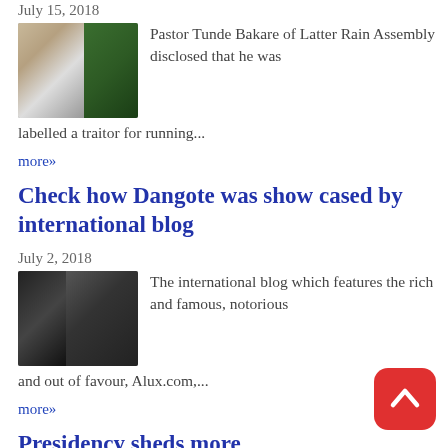July 15, 2018
[Figure (photo): Thumbnail photo of Pastor Tunde Bakare, two people visible]
Pastor Tunde Bakare of Latter Rain Assembly disclosed that he was labelled a traitor for running...
more»
Check how Dangote was show cased by international blog
July 2, 2018
[Figure (photo): Thumbnail photo of Dangote, man in suit with glasses]
The international blog which features the rich and famous, notorious and out of favour, Alux.com,...
more»
Presidency sheds more